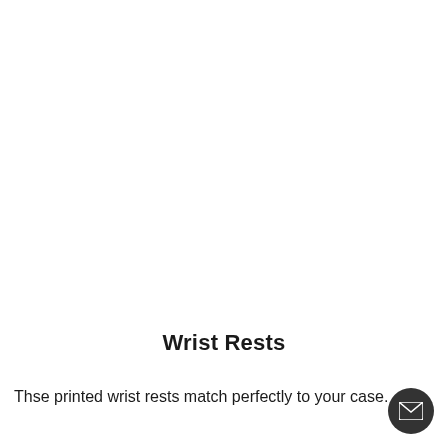Wrist Rests
Thse printed wrist rests match perfectly to your case.
[Figure (other): Email/contact button icon — dark circular button with white envelope icon]